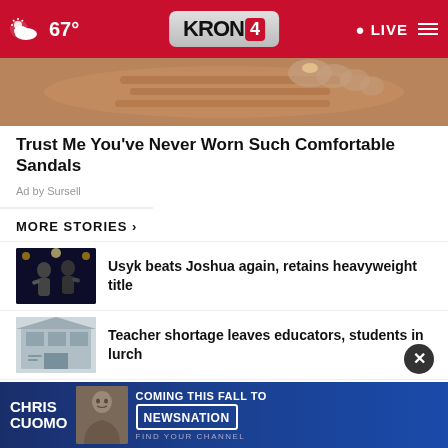KRON 4 — 67° — LIVE
[Figure (photo): Close-up photo of comfortable sandals on feet, advertisement image]
Trust Me You've Never Worn Such Comfortable Sandals
Ad by Sursell
MORE STORIES ›
[Figure (photo): Thumbnail of boxing match between Usyk and Joshua]
Usyk beats Joshua again, retains heavyweight title
[Figure (photo): Thumbnail of classroom or school building related to teacher shortage story]
Teacher shortage leaves educators, students in lurch
[Figure (photo): Thumbnail of fire department truck related to fire story]
e fire
[Figure (advertisement): Chris Cuomo Coming This Fall to NewsNation advertisement banner]